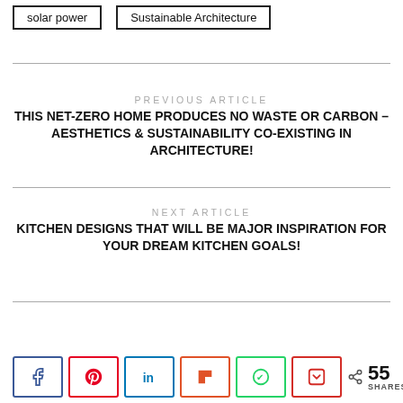solar power
Sustainable Architecture
PREVIOUS ARTICLE
THIS NET-ZERO HOME PRODUCES NO WASTE OR CARBON – AESTHETICS & SUSTAINABILITY CO-EXISTING IN ARCHITECTURE!
NEXT ARTICLE
KITCHEN DESIGNS THAT WILL BE MAJOR INSPIRATION FOR YOUR DREAM KITCHEN GOALS!
55 SHARES